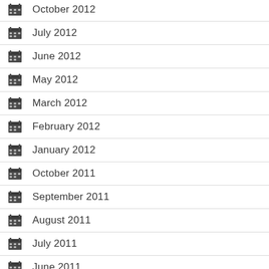October 2012
July 2012
June 2012
May 2012
March 2012
February 2012
January 2012
October 2011
September 2011
August 2011
July 2011
June 2011
May 2011